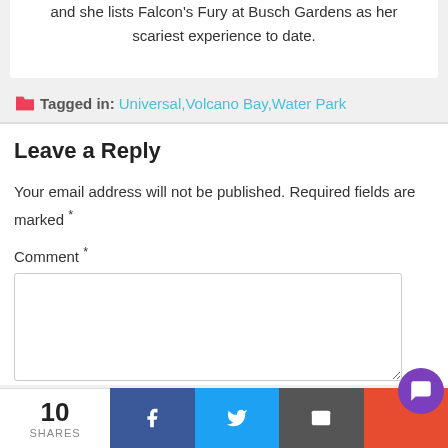and she lists Falcon's Fury at Busch Gardens as her scariest experience to date.
Tagged in: Universal, Volcano Bay, Water Park
Leave a Reply
Your email address will not be published. Required fields are marked *
Comment *
10 SHARES